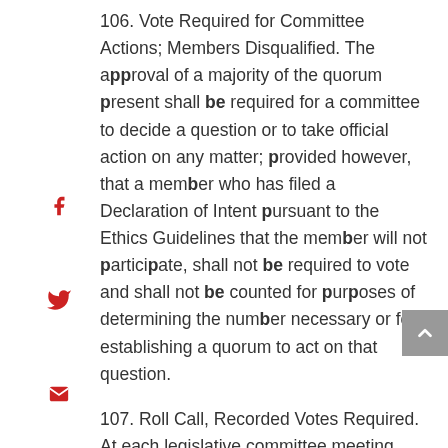106. Vote Required for Committee Actions; Members Disqualified. The approval of a majority of the quorum present shall be required for a committee to decide a question or to take official action on any matter; provided however, that a member who has filed a Declaration of Intent pursuant to the Ethics Guidelines that the member will not participate, shall not be required to vote and shall not be counted for purposes of determining the number necessary or for establishing a quorum to act on that question.
107. Roll Call, Recorded Votes Required. At each legislative committee meeting, final action on any bill or resolution shall be by